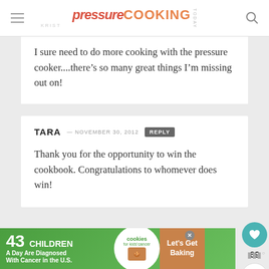pressure COOKING TODAY
I sure need to do more cooking with the pressure cooker....there’s so many great things I’m missing out on!
TARA — NOVEMBER 30, 2012 REPLY
Thank you for the opportunity to win the cookbook. Congratulations to whomever does win!
[Figure (infographic): Advertisement banner: '43 CHILDREN A Day Are Diagnosed With Cancer in the U.S.' with cookies for kids cancer logo and 'Let’s Get Baking' text]